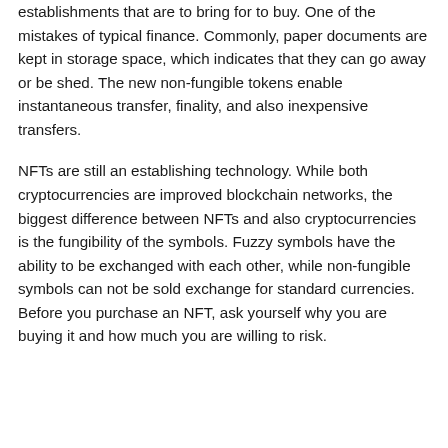establishments that are to bring for to buy. One of the mistakes of typical finance. Commonly, paper documents are kept in storage space, which indicates that they can go away or be shed. The new non-fungible tokens enable instantaneous transfer, finality, and also inexpensive transfers.
NFTs are still an establishing technology. While both cryptocurrencies are improved blockchain networks, the biggest difference between NFTs and also cryptocurrencies is the fungibility of the symbols. Fuzzy symbols have the ability to be exchanged with each other, while non-fungible symbols can not be sold exchange for standard currencies. Before you purchase an NFT, ask yourself why you are buying it and how much you are willing to risk.